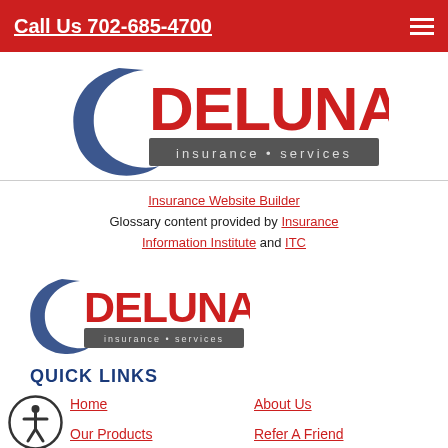Call Us 702-685-4700
[Figure (logo): Deluna Insurance Services logo — large version at top of page]
Insurance Website Builder
Glossary content provided by Insurance Information Institute and ITC
[Figure (logo): Deluna Insurance Services logo — smaller version in footer area]
QUICK LINKS
Home
About Us
Our Products
Refer A Friend
Customer Service
Our Carriers